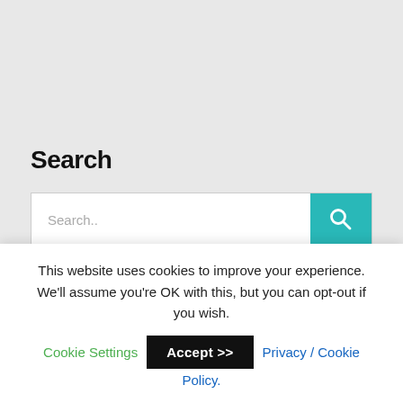Search
[Figure (other): Search input bar with teal search button on right containing a magnifying glass icon. Input shows placeholder text 'Search..']
Menu
This website uses cookies to improve your experience. We'll assume you're OK with this, but you can opt-out if you wish. Cookie Settings  Accept >>  Privacy / Cookie Policy.